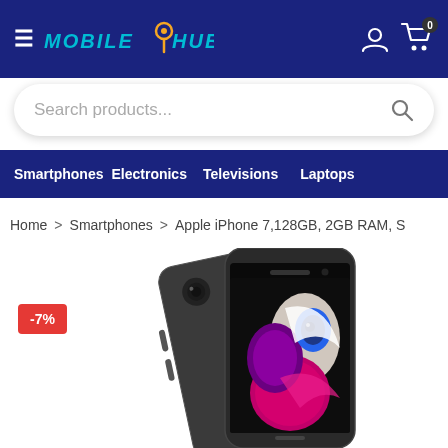MOBILE HUB - navigation header with hamburger menu, logo, user icon, cart icon with 0 items
Search products...
Smartphones  Electronics  Televisions  Laptops
Home > Smartphones > Apple iPhone 7,128GB, 2GB RAM, S
[Figure (photo): Apple iPhone 7 in space gray color shown from front and back angle, with colorful parrot wallpaper visible on screen, on white background. A red badge shows -7% discount.]